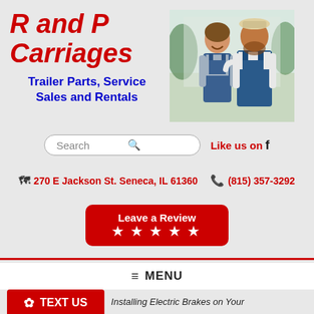R and P Carriages
Trailer Parts, Service Sales and Rentals
[Figure (photo): Two people wearing denim overalls standing together outdoors, a man and a woman smiling]
Search
Like us on f
270 E Jackson St. Seneca, IL 61360   (815) 357-3292
Leave a Review ★★★★★
≡ MENU
TEXT US
Installing Electric Brakes on Your